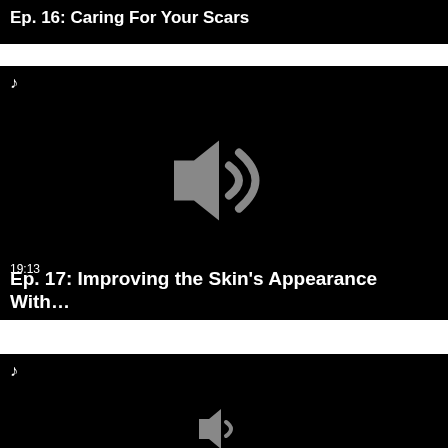[Figure (screenshot): Video thumbnail with black background showing partial title text 'Ep. 16: Caring For Your Scars' cut off at top, with white text on black]
[Figure (screenshot): Video thumbnail with black background, music note icon top-left, large speaker/audio icon in center, duration 19:13, title 'Ep. 17: Improving the Skin's Appearance With...']
[Figure (screenshot): Video thumbnail with black background, music note icon top-left, partial view of another episode, beginning of a play or speaker icon visible at bottom]